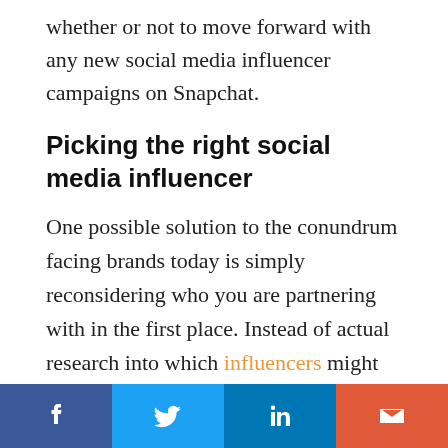whether or not to move forward with any new social media influencer campaigns on Snapchat.
Picking the right social media influencer
One possible solution to the conundrum facing brands today is simply reconsidering who you are partnering with in the first place. Instead of actual research into which influencers might actually enjoy and support their products, many brands simply check out the number of followers on social media and then write a check based on the size of that number.